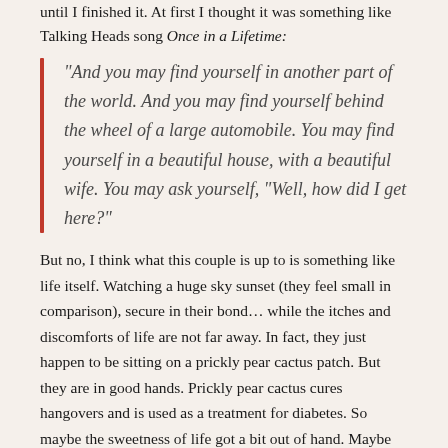until I finished it. At first I thought it was something like Talking Heads song Once in a Lifetime:
“And you may find yourself in another part of the world. And you may find yourself behind the wheel of a large automobile. You may find yourself in a beautiful house, with a beautiful wife. You may ask yourself, “Well, how did I get here?”
But no, I think what this couple is up to is something like life itself. Watching a huge sky sunset (they feel small in comparison), secure in their bond… while the itches and discomforts of life are not far away. In fact, they just happen to be sitting on a prickly pear cactus patch. But they are in good hands. Prickly pear cactus cures hangovers and is used as a treatment for diabetes. So maybe the sweetness of life got a bit out of hand. Maybe